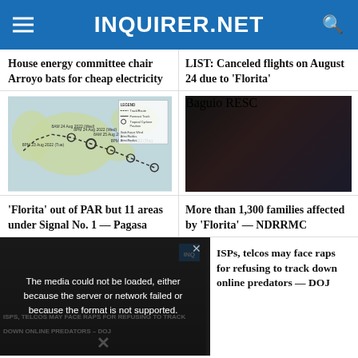INQUIRER.NET
House energy committee chair Arroyo bats for cheap electricity
LIST: Canceled flights on August 24 due to ‘Florita’
[Figure (map): Typhoon Florita track map showing storm path with timestamps: 8PM 23 Aug 2022 (Tue), 8AM 24 Aug 2022 (Wed), 8PM 24 Aug 2022 (Wed), 8AM 25 Aug 2022 (Thu), 8PM 25 Aug 2022 (Thu)]
[Figure (photo): Nighttime photo of rescue vehicle (Baguio Rescue) with emergency lights and people in the background]
‘Florita’ out of PAR but 11 areas under Signal No. 1 — Pagasa
More than 1,300 families affected by ‘Florita’ — NDRRMC
[Figure (screenshot): Video player showing ISPs/telcos news story with error overlay: The media could not be loaded, either because the server or network failed or because the format is not supported. Bottom text: ISPS, TELCOS MAY FACE RAPS FOR REFUSING TO TRACK DOWN ONLINE PREDATORS – DOJ]
ISPs, telcos may face raps for refusing to track down online predators — DOJ